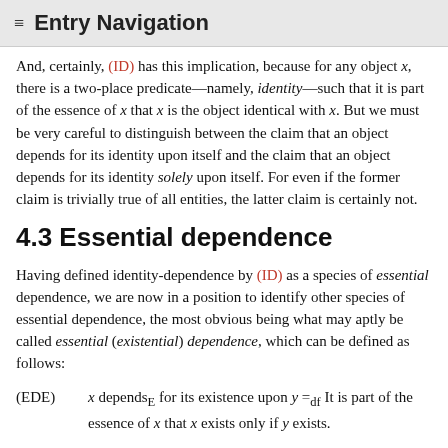≡ Entry Navigation
And, certainly, (ID) has this implication, because for any object x, there is a two-place predicate—namely, identity—such that it is part of the essence of x that x is the object identical with x. But we must be very careful to distinguish between the claim that an object depends for its identity upon itself and the claim that an object depends for its identity solely upon itself. For even if the former claim is trivially true of all entities, the latter claim is certainly not.
4.3 Essential dependence
Having defined identity-dependence by (ID) as a species of essential dependence, we are now in a position to identify other species of essential dependence, the most obvious being what may aptly be called essential (existential) dependence, which can be defined as follows:
(EDE)    x dependsE for its existence upon y =df It is part of the essence of x that x exists only if y exists.